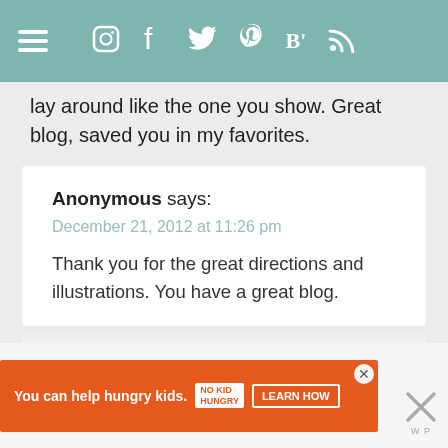Navigation bar with hamburger menu and social icons: Instagram, Facebook, Twitter, Pinterest, Bloglovin, RSS
lay around like the one you show. Great blog, saved you in my favorites.
Anonymous says:
December 21, 2012 at 11:26 pm
Thank you for the great directions and illustrations. You have a great blog.
Anonymous says:
December 21, 2012 at 11:27 pm
[Figure (screenshot): Orange ad banner: 'You can help hungry kids.' with No Kid Hungry logo and 'LEARN HOW' button]